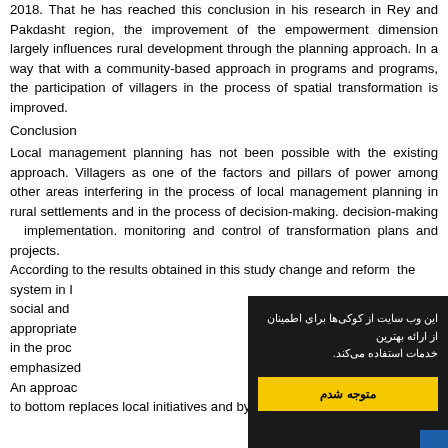2018. That he has reached this conclusion in his research in Rey and Pakdasht region, the improvement of the empowerment dimension largely influences rural development through the planning approach. In a way that with a community-based approach in programs and programs, the participation of villagers in the process of spatial transformation is improved.
Conclusion
Local management planning has not been possible with the existing approach. Villagers as one of the factors and pillars of power among other areas interfering in the process of local management planning in rural settlements and in the process of decision-making. decision-making implementation. monitoring and control of transformation plans and projects.
According to the results obtained in this study change and reform the system in I... social and ... appropriate ... in the proc... emphasized...
An approac... to bottom replaces local initiatives and by delegating author...
[Figure (screenshot): Cookie consent overlay popup in Persian/Farsi. Dark background with white text reading 'این وب سایت از کوکی ها برای اطمینان از ارائه بهترین خدمات استفاده می‌کند.' and a yellow button labeled 'متوجه شدم'.]